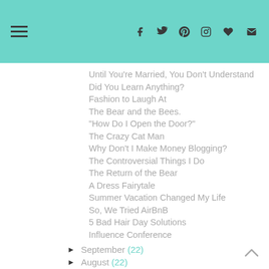Navigation header with hamburger menu and social icons (Facebook, Twitter, Pinterest, Instagram, Heart, Mail)
Until You're Married, You Don't Understand
Did You Learn Anything?
Fashion to Laugh At
The Bear and the Bees.
"How Do I Open the Door?"
The Crazy Cat Man
Why Don't I Make Money Blogging?
The Controversial Things I Do
The Return of the Bear
A Dress Fairytale
Summer Vacation Changed My Life
So, We Tried AirBnB
5 Bad Hair Day Solutions
Influence Conference
► September (22)
► August (22)
► July (23)
► June (21)
► May (22)